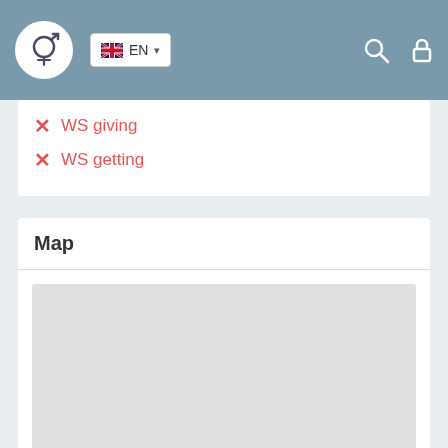[Figure (screenshot): Navigation bar with logo, EN language selector, search and lock icons]
WS giving
WS getting
Map
[Figure (map): Empty map placeholder area, light grey background]